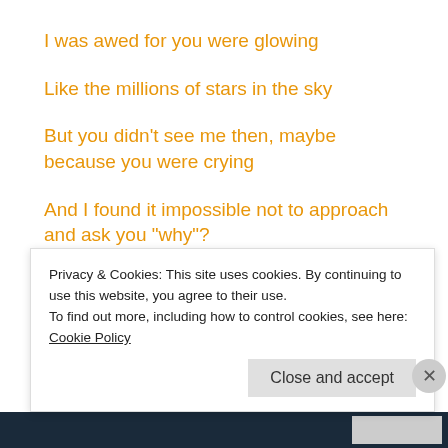I was awed for you were glowing
Like the millions of stars in the sky
But you didn’t see me then, maybe because you were crying
And I found it impossible not to approach and ask you “why”?
You turned towards me, your lips playing a sad smile
You said... (faded/cut off)
Privacy & Cookies: This site uses cookies. By continuing to use this website, you agree to their use.
To find out more, including how to control cookies, see here: Cookie Policy